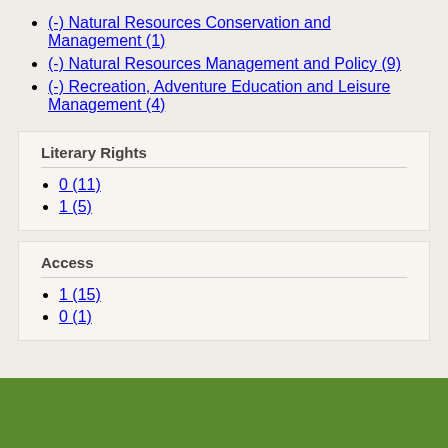(-) Natural Resources Conservation and Management (1)
(-) Natural Resources Management and Policy (9)
(-) Recreation, Adventure Education and Leisure Management (4)
Literary Rights
0 (11)
1 (5)
Access
1 (15)
0 (1)